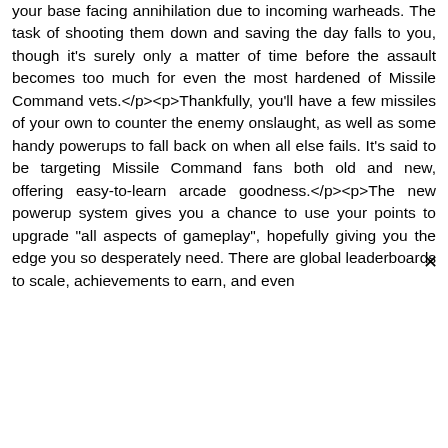your base facing annihilation due to incoming warheads. The task of shooting them down and saving the day falls to you, though it's surely only a matter of time before the assault becomes too much for even the most hardened of Missile Command vets.</p><p>Thankfully, you'll have a few missiles of your own to counter the enemy onslaught, as well as some handy powerups to fall back on when all else fails. It's said to be targeting Missile Command fans both old and new, offering easy-to-learn arcade goodness.</p><p>The new powerup system gives you a chance to use your points to upgrade "all aspects of gameplay", hopefully giving you the edge you so desperately need. There are global leaderboards to scale, achievements to earn, and even